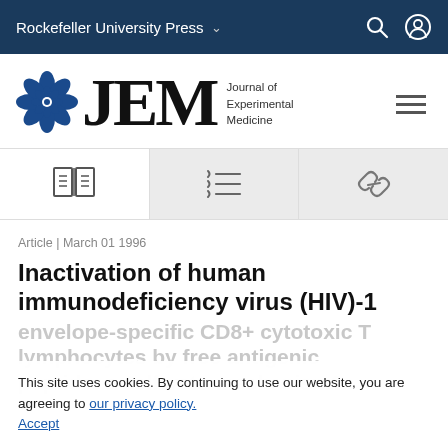Rockefeller University Press
[Figure (logo): JEM Journal of Experimental Medicine logo with blue circular flower icon and large serif JEM letters]
[Figure (infographic): Three tab icons: open book (PDF), indented list (citations), chain link (link)]
Article | March 01 1996
Inactivation of human immunodeficiency virus (HIV)-1
envelope-specific CD8+ cytotoxic T lymphocytes by free antigenic peptide: a self-veto mechanism?
This site uses cookies. By continuing to use our website, you are agreeing to our privacy policy. Accept